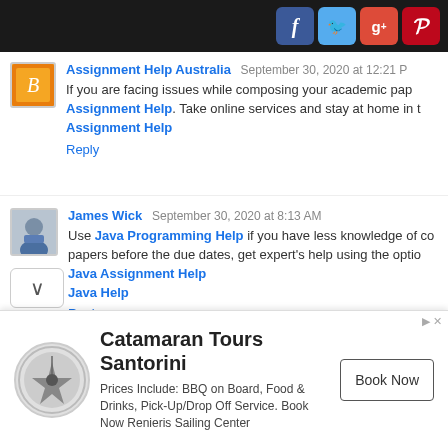[Figure (screenshot): Top navigation bar with social media icons: Facebook (blue), Twitter (cyan), Google+ (red), Pinterest (red)]
Assignment Help Australia  September 30, 2020 at 12:21 PM
If you are facing issues while composing your academic papers, get Assignment Help. Take online services and stay at home in this pandemic situation. Assignment Help
Reply
James Wick  September 30, 2020 at 8:13 AM
Use Java Programming Help if you have less knowledge of coding your papers before the due dates, get expert's help using the option. Java Assignment Help Java Help
Reply
Assignment Help Australia  September 30, 2020 at 9:55 AM
[Figure (infographic): Advertisement banner for Catamaran Tours Santorini with logo, text, and Book Now button. Prices Include: BBQ on Board, Food & Drinks, Pick-Up/Drop Off Service. Book Now Renieris Sailing Center]